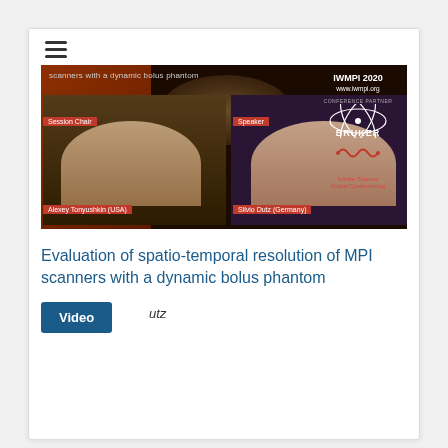[Figure (screenshot): Video conference screenshot showing two participants in video panels. Left panel labeled 'Session Chair' shows Alexey Tonyushkin (USA). Right panel labeled 'Speaker' shows Silvio Dutz (Germany). Top right shows IWMPI 2020 logo, www.iwmpi.org, CONFERENCE PARTNER, BRUKER logo, and Infinite Science Digital Conferencing logo. Background shows orange glow and a round glass/phantom object. Top text reads 'scanners with a dynamic bolus phantom'.]
Evaluation of spatio-temporal resolution of MPI scanners with a dynamic bolus phantom
Silvio Dutz
Video